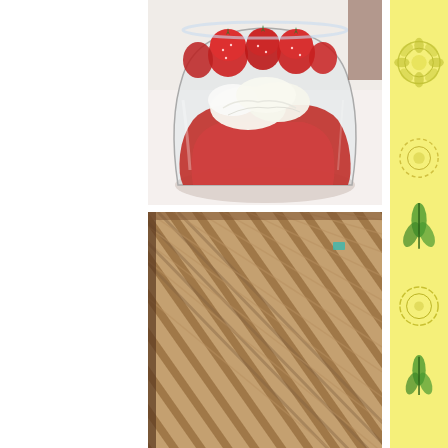[Figure (photo): A glass bowl filled with strawberry dessert - red strawberry puree/compote at the bottom, topped with white whipped cream, and fresh sliced strawberries on top. The glass is clear and sits on a white surface.]
[Figure (photo): Close-up view of parallel wooden stripes or slats, possibly a bamboo mat or wooden surface with diagonal ridges, with a small teal/green accent visible in the upper right area.]